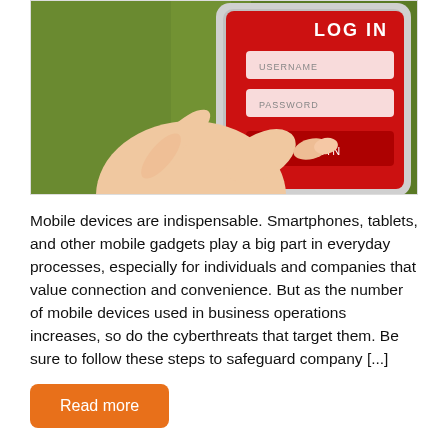[Figure (photo): A hand pressing the LOGIN button on a smartphone screen showing a red login interface with USERNAME and PASSWORD fields, and a LOGIN button. Green background visible behind the phone.]
Mobile devices are indispensable. Smartphones, tablets, and other mobile gadgets play a big part in everyday processes, especially for individuals and companies that value connection and convenience. But as the number of mobile devices used in business operations increases, so do the cyberthreats that target them. Be sure to follow these steps to safeguard company [...]
Read more